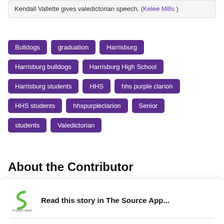Kendall Vallette gives valedictorian speech. (Kelee Mills )
Bulldogs
graduation
Harrisburg
Harrisburg bulldogs
Harrisburg High School
Harrisburg students
HHS
hhs purple clarion
HHS students
hhspurpleclarion
Senior
students
Valedictorian
About the Contributor
Read this story in The Source App...
Open App  Continue in browser